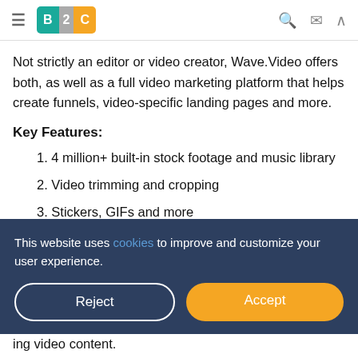B2C
Not strictly an editor or video creator, Wave.Video offers both, as well as a full video marketing platform that helps create funnels, video-specific landing pages and more.
Key Features:
1. 4 million+ built-in stock footage and music library
2. Video trimming and cropping
3. Stickers, GIFs and more
This website uses cookies to improve and customize your user experience.
ing video content.